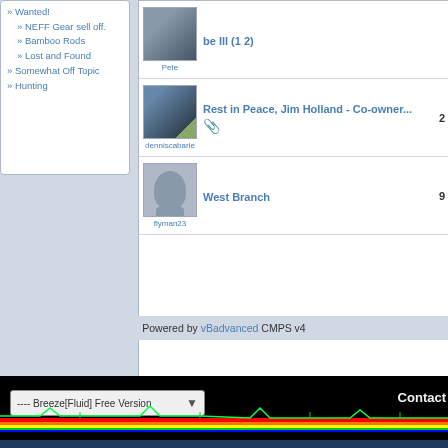» Wanted!
» NEFF Gear sell off.
» Bamboo Rods
» Lost and Found
» Somewhat Off Topic
» Hunting
| Avatar/User | Thread Title | Replies |
| --- | --- | --- |
| Pete | be Ill (1 2) |  |
| denniscabarle | Rest in Peace, Jim Holland - Co-owner... | 2 |
| flyman23 | West Branch | 9 |
Powered by vBadvanced CMPS v4
[Figure (screenshot): Black banner bar with rainbow spectrum waveform, dropdown selector showing '---- Breeze[Fluid] Free Version', and Contact link]
All times are GMT -4. The time now is
Powered by Version 4.2.5
Copyright © 2022 vBulletin Solutions Inc. All rights reserved.
Extras by
Forum Modifications By
by TalkTemplate.
All texts and photographs are properties of the original creator and may not be duplicated. original creators. All other material, ? NEFF, L